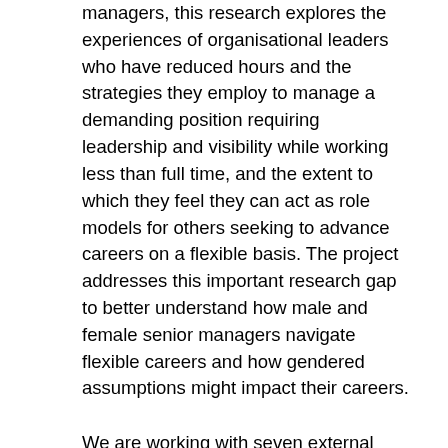managers, this research explores the experiences of organisational leaders who have reduced hours and the strategies they employ to manage a demanding position requiring leadership and visibility while working less than full time, and the extent to which they feel they can act as role models for others seeking to advance careers on a flexible basis. The project addresses this important research gap to better understand how male and female senior managers navigate flexible careers and how gendered assumptions might impact their careers.
We are working with seven external partners who have offered their support to the project. All have a keen interest and take active roles in the promotion of gender equality in organisations. They know the importance of gender diversity at all levels of organisations and the business benefits this can yield. Crucially, they are able to help us to access